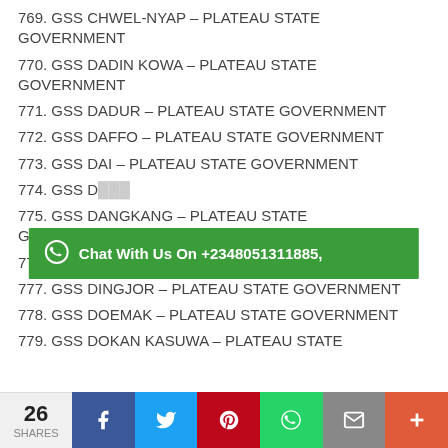769. GSS CHWEL-NYAP – PLATEAU STATE GOVERNMENT
770. GSS DADIN KOWA – PLATEAU STATE GOVERNMENT
771. GSS DADUR – PLATEAU STATE GOVERNMENT
772. GSS DAFFO – PLATEAU STATE GOVERNMENT
773. GSS DAI – PLATEAU STATE GOVERNMENT
774. GSS D[obscured] – PLATEAU STATE GOVERNMENT
[Figure (infographic): Chat With Us On +2348051311885, green WhatsApp promotional banner overlay]
775. GSS DANGKANG – PLATEAU STATE GOVERNMENT
776. GSS DAWAKI – PLATEAU STATE GOVERNMENT
777. GSS DINGJOR – PLATEAU STATE GOVERNMENT
778. GSS DOEMAK – PLATEAU STATE GOVERNMENT
779. GSS DOKAN KASUWA – PLATEAU STATE